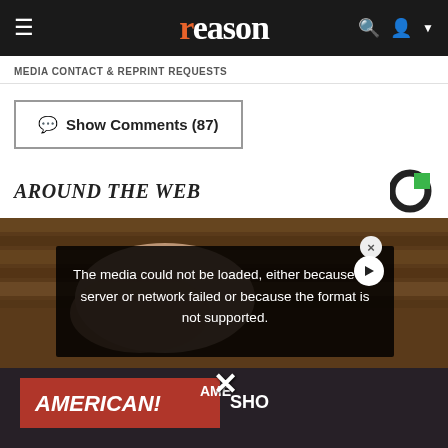reason
MEDIA CONTACT & REPRINT REQUESTS
Show Comments (87)
AROUND THE WEB
[Figure (photo): Background photo of hands on wooden floor, overlaid with a video error overlay reading: 'The media could not be loaded, either because the server or network failed or because the format is not supported.' with a close X button. Below is a protest scene with signs reading AMERICAN!]
[Figure (logo): Taboola logo - circular C shape with green square]